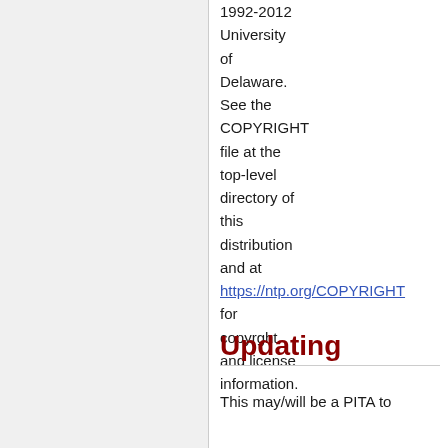1992-2012 University of Delaware. See the COPYRIGHT file at the top-level directory of this distribution and at https://ntp.org/COPYRIGHT for copyrght and license information.
Updating
This may/will be a PITA to